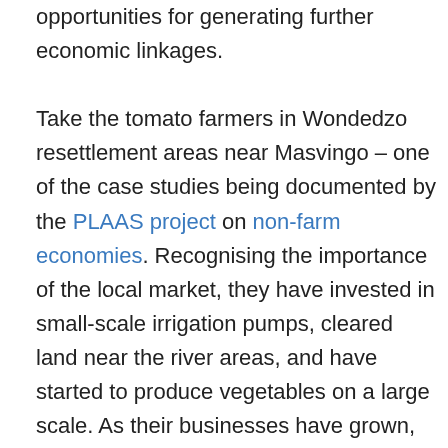opportunities for generating further economic linkages.

Take the tomato farmers in Wondedzo resettlement areas near Masvingo – one of the case studies being documented by the PLAAS project on non-farm economies. Recognising the importance of the local market, they have invested in small-scale irrigation pumps, cleared land near the river areas, and have started to produce vegetables on a large scale. As their businesses have grown, they have employed more people, mostly women from nearby areas, and have worked with suppliers to get their crops to market. This has generated more employment along the value chain, with traders, transporters, retailers, supermarket chains and others becoming involved. Several have bought new one tonne trucks in the last year, to ensure prompt delivery to market. Again, this has brought new economic activity, with